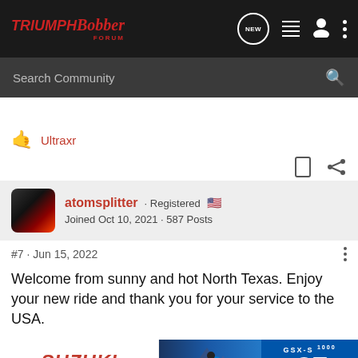Triumph Bobber Forum — NEW icon, list icon, user icon, more icon
Search Community
Ultraxr
atomsplitter · Registered 🇺🇸
Joined Oct 10, 2021 · 587 Posts
#7 · Jun 15, 2022
Welcome from sunny and hot North Texas. Enjoy your new ride and thank you for your service to the USA.
[Figure (advertisement): Suzuki GSX-S1000GT advertisement banner showing Suzuki logo, motorcycle rider on blue background, and GSX-S 1000 GT branding with 'SEE IT NOW >>' text]